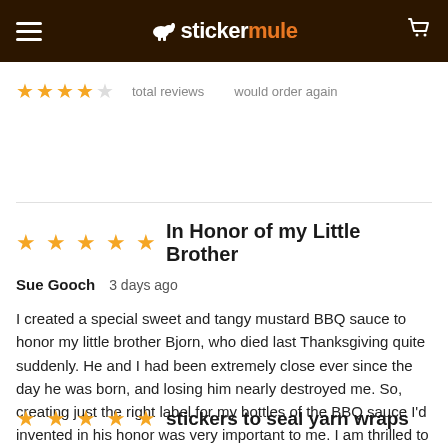stickermule
total reviews   would order again
In Honor of my Little Brother
Sue Gooch   3 days ago
I created a special sweet and tangy mustard BBQ sauce to honor my little brother Bjorn, who died last Thanksgiving quite suddenly. He and I had been extremely close ever since the day he was born, and losing him nearly destroyed me. So, creating just the right label for my bottles of the BBQ sauce I'd invented in his honor was very important to me. I am thrilled to bits with the product that St...Read more
stickers to seal yarn wraps